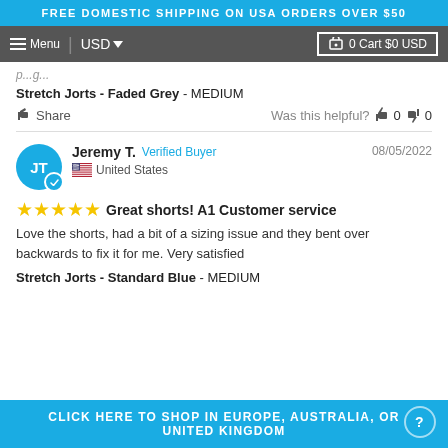FREE DOMESTIC SHIPPING ON USA ORDERS OVER $50
Menu | USD | 0 Cart $0 USD
Stretch Jorts - Faded Grey - MEDIUM
Share | Was this helpful? 0 0
Jeremy T. Verified Buyer 08/05/2022 United States
★★★★★ Great shorts! A1 Customer service
Love the shorts, had a bit of a sizing issue and they bent over backwards to fix it for me. Very satisfied
Stretch Jorts - Standard Blue - MEDIUM
CLICK HERE TO SHOP IN EUROPE, AUSTRALIA, OR UNITED KINGDOM